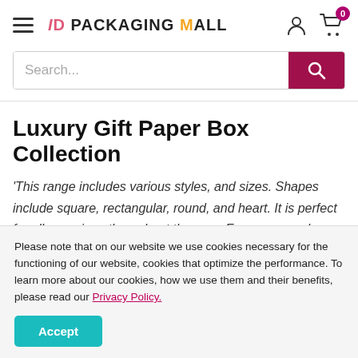ID Packaging Mall
Search...
Luxury Gift Paper Box Collection
'This range includes various styles, and sizes. Shapes include square, rectangular, round, and heart. It is perfect for all occasions throughout the year. From seasonal Christmas boxes
Please note that on our website we use cookies necessary for the functioning of our website, cookies that optimize the performance. To learn more about our cookies, how we use them and their benefits, please read our Privacy Policy.